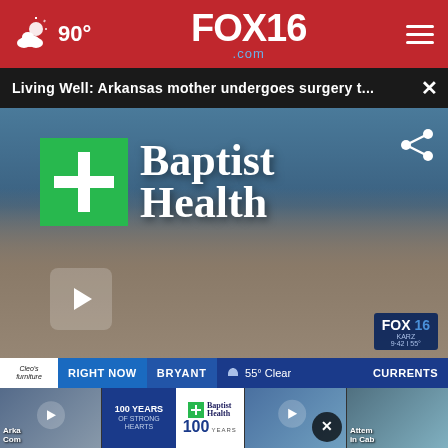FOX16.com — 90° weather — navigation menu
Living Well: Arkansas mother undergoes surgery t...
[Figure (screenshot): Video thumbnail showing Baptist Health building exterior with logo sign, play button overlay, FOX16 watermark, and share icon]
RIGHT NOW | BRYANT | 55° Clear | CURRENTS
[Figure (screenshot): Thumbnail strip showing four video thumbnails with play buttons]
[Figure (other): Baptist Health 100 Years of Strong Hearts advertisement banner]